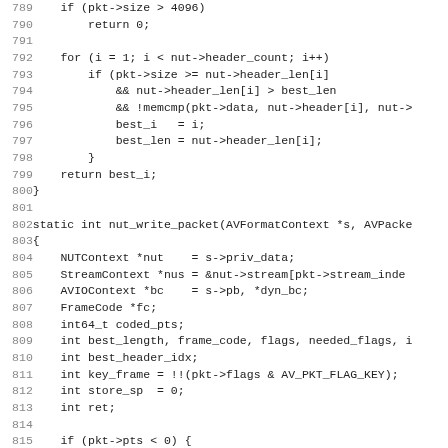[Figure (other): C source code listing, lines 789-820, showing nut_write_packet function and a loop checking packet size and header length]